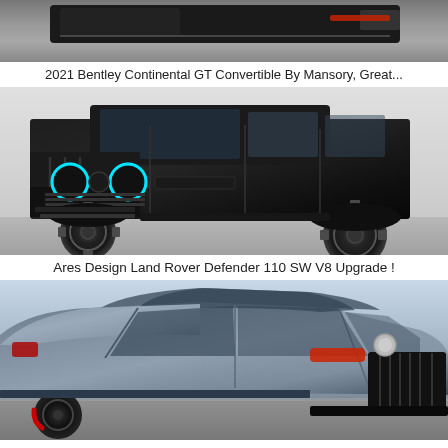[Figure (photo): Partial top view of a Bentley Continental GT Convertible by Mansory, showing the rear/side of the car in dark color against a grey road background.]
2021 Bentley Continental GT Convertible By Mansory, Great...
[Figure (photo): Ares Design Land Rover Defender 110 SW V8 Upgrade in all-black finish with cyan halo headlights, large off-road tires, photographed against a white/grey background.]
Ares Design Land Rover Defender 110 SW V8 Upgrade !
[Figure (photo): A grey Mercedes-AMG GT 63 S 4-door coupe with black wheels and red brake calipers, photographed on a parking lot / road from a front three-quarter angle.]